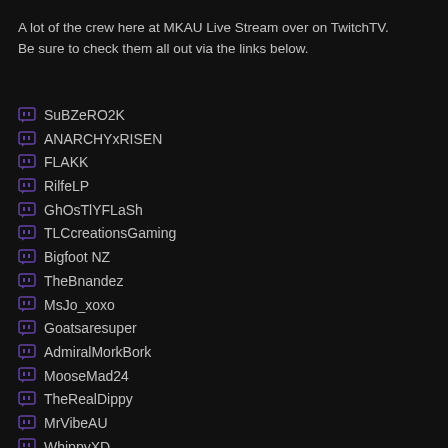A lot of the crew here at MKAU Live Stream over on TwitchTV. Be sure to check them all out via the links below.
SuBZeRO2K
ANARCHYxRISEN
FLAKK
RilfeLP
GhOsTlYFLaSh
TLCcreationsGaming
Bigfoot NZ
TheBnandez
MsJo_xoxo
Goatsaresuper
AdmiralMorkBork
MooseMad24
TheRealDippy
MrVibeAU
WhippyXD
MJ